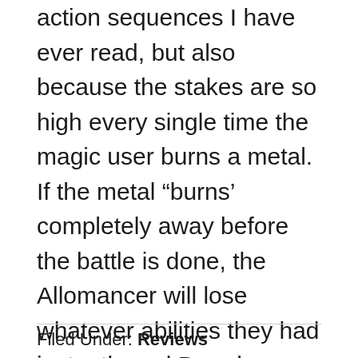action sequences I have ever read, but also because the stakes are so high every single time the magic user burns a metal. If the metal “burns’ completely away before the battle is done, the Allomancer will lose whatever abilities they had instantly and Brandon Sanderson uses this “flaw” in the magic users to great effect.
How about you? What are some of your favorite magic systems and why? I’d love to hear about them in the comments!
Filed Under: Reviews